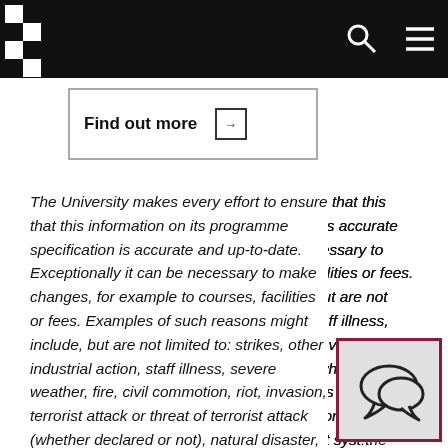Find out more →
The University makes every effort to ensure that this information on its programme specification is accurate and up-to-date. Exceptionally it can be necessary to make changes, for example to courses, facilities or fees. Examples of such reasons might include, but are not limited to: strikes, other industrial action, staff illness, severe weather, fire, civil commotion, riot, invasion, terrorist attack or threat of terrorist attack (whether declared or not), natural disaster, restrictions imposed by government or public authorities, epidemic or pandemic disease, failure of public utilities or transport systems, the withdrawal/reduction of funding. Changes to